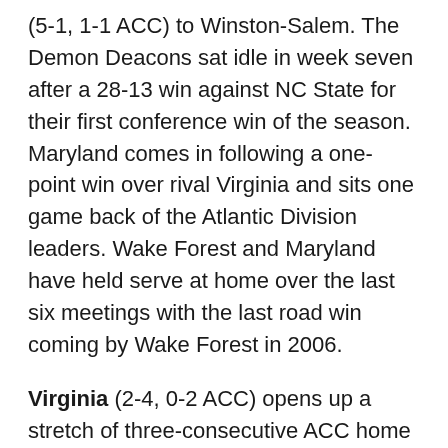(5-1, 1-1 ACC) to Winston-Salem. The Demon Deacons sat idle in week seven after a 28-13 win against NC State for their first conference win of the season. Maryland comes in following a one-point win over rival Virginia and sits one game back of the Atlantic Division leaders. Wake Forest and Maryland have held serve at home over the last six meetings with the last road win coming by Wake Forest in 2006.
Virginia (2-4, 0-2 ACC) opens up a stretch of three-consecutive ACC home games, hosting Duke (4-2, 0-2 ACC). The Cavaliers missed a field goal in the final minute, falling one point shy of upsetting Maryland on the road in week six, while Duke eased past Navy to complete a perfect non-conference slate. The Blue Devils have won the last